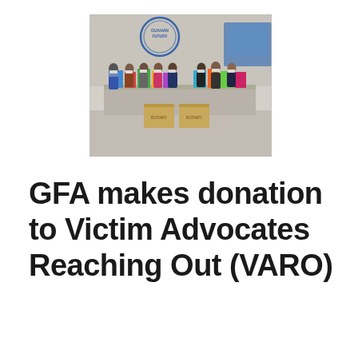[Figure (photo): Group photo of people wearing masks standing behind a table with various donated items and boxes, in front of a wall with the Guahan Futuro logo/mural.]
GFA makes donation to Victim Advocates Reaching Out (VARO)